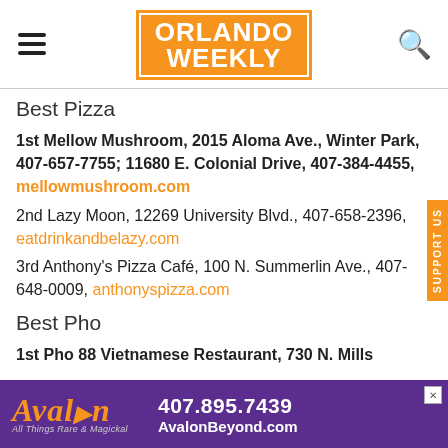Orlando Weekly
Best Pizza
1st Mellow Mushroom, 2015 Aloma Ave., Winter Park, 407-657-7755; 11680 E. Colonial Drive, 407-384-4455, mellowmushroom.com
2nd Lazy Moon, 12269 University Blvd., 407-658-2396, eatdrinkandbelazy.com
3rd Anthony's Pizza Café, 100 N. Summerlin Ave., 407-648-0009, anthonyspizza.com
Best Pho
1st Pho 88 Vietnamese Restaurant, 730 N. Mills
[Figure (infographic): Avalon advertisement banner: purple background, Avalon logo in gold italic text, phone 407.895.7439, AvalonBeyond.com]